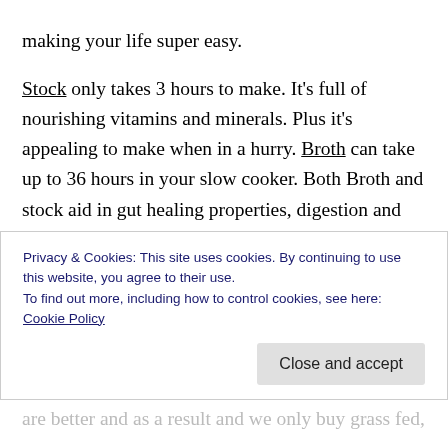making your life super easy. Stock only takes 3 hours to make. It's full of nourishing vitamins and minerals. Plus it's appealing to make when in a hurry. Broth can take up to 36 hours in your slow cooker. Both Broth and stock aid in gut healing properties, digestion and helps to fight colds. Can I encourage you to look it up, research it yourself. You can make any broth but I recommend to use chicken because it's delicious and it works with more dishes. Chicken Broth contains minerals that the body can absorb easily such as calcium, magnesium, phosphorus, silicon
Privacy & Cookies: This site uses cookies. By continuing to use this website, you agree to their use.
To find out more, including how to control cookies, see here: Cookie Policy
Close and accept
are better and as a result and we only buy grass fed,